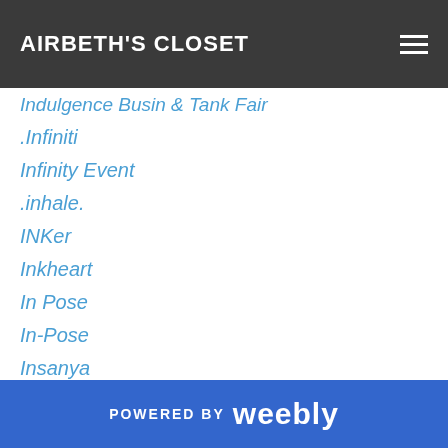AIRBETH'S CLOSET
Indulgence Busin & Tank Fair
.Infiniti
Infinity Event
.inhale.
INKer
Inkheart
In Pose
In-Pose
Insanya
Insol
Insufferable Dastard
InsurreKtion
Invictus
Invidah
Invision
POWERED BY weebly